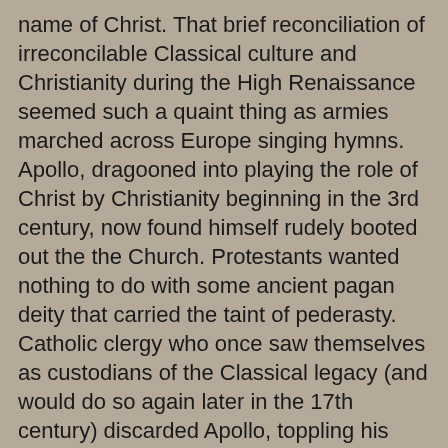name of Christ.  That brief reconciliation of irreconcilable Classical culture and Christianity during the High Renaissance seemed such a quaint thing as armies marched across Europe singing hymns.  Apollo, dragooned into playing the role of Christ by Christianity beginning in the 3rd century, now found himself rudely booted out the the Church.  Protestants wanted nothing to do with some ancient pagan deity that carried the taint of pederasty.  Catholic clergy who once saw themselves as custodians of the Classical legacy (and would do so again later in the 17th century) discarded Apollo, toppling his statues and planting the Cross on his pedestals.  As Christianity tore itself apart, Christian Apollo became impossible.
But the world was not done with Apollo yet.  This age of religious warfare saw the modern nation state begin to emerge out of the carnage; new larger states based on shared national identity and ruled over by powerful absolute monarchs.  The power of these new monarchs rested not on historic feudal legacies, but on national allegiance.  They were kings and queens of nations, not of loose collections of feudal estates and clerical dioceses whose cooperation they needed to rule.  The King of France was not just the French